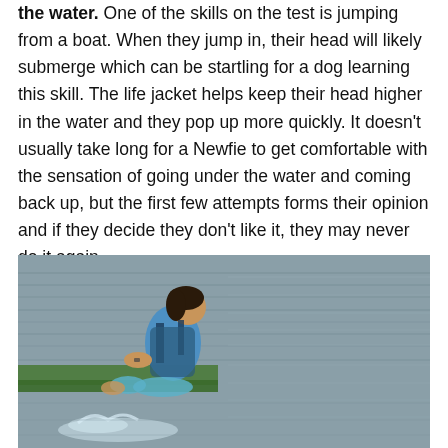the water. One of the skills on the test is jumping from a boat. When they jump in, their head will likely submerge which can be startling for a dog learning this skill. The life jacket helps keep their head higher in the water and they pop up more quickly. It doesn't usually take long for a Newfie to get comfortable with the sensation of going under the water and coming back up, but the first few attempts forms their opinion and if they decide they don't like it, they may never do it again.
[Figure (photo): A person wearing a blue shirt and life jacket sits on the edge of a green dock or boat, leaning over the water. The water surface is visible in the background with ripples. A splash is visible at the bottom of the image.]